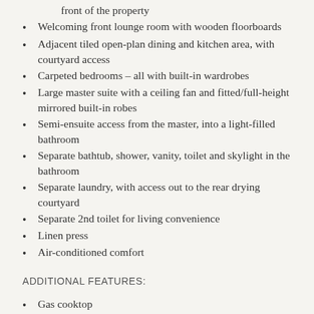front of the property
Welcoming front lounge room with wooden floorboards
Adjacent tiled open-plan dining and kitchen area, with courtyard access
Carpeted bedrooms – all with built-in wardrobes
Large master suite with a ceiling fan and fitted/full-height mirrored built-in robes
Semi-ensuite access from the master, into a light-filled bathroom
Separate bathtub, shower, vanity, toilet and skylight in the bathroom
Separate laundry, with access out to the rear drying courtyard
Separate 2nd toilet for living convenience
Linen press
Air-conditioned comfort
ADDITIONAL FEATURES:
Gas cooktop
Separate oven
Stainless-steel range hood